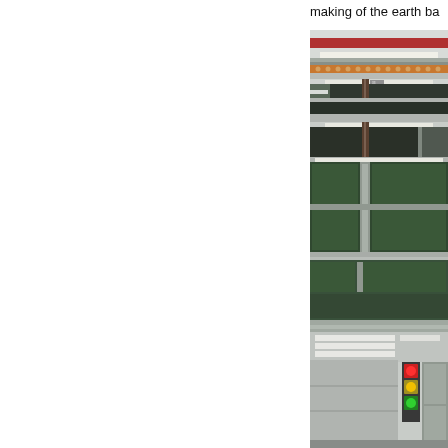making of the earth ba
[Figure (photo): Industrial facility interior showing overhead structural elements, shelving or storage racks with dark green panels, fluorescent lighting strips, a vertical support pole, metal framing, and indicator lights (red, yellow, green) at the bottom right. The image appears to be taken from a slightly elevated angle looking along the length of the facility.]